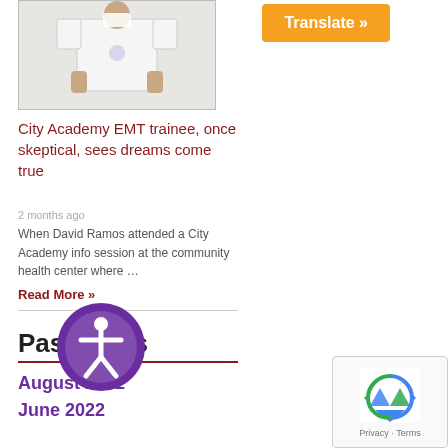[Figure (photo): Person holding a white t-shirt with a small logo on it, wearing a mask]
City Academy EMT trainee, once skeptical, sees dreams come true
2 months ago
When David Ramos attended a City Academy info session at the community health center where …
Read More »
Past News
August 2022
June 2022
[Figure (illustration): PageAssist circular accessibility icon with person figure in purple]
[Figure (illustration): Google reCAPTCHA badge with recycling logo arrows in blue]